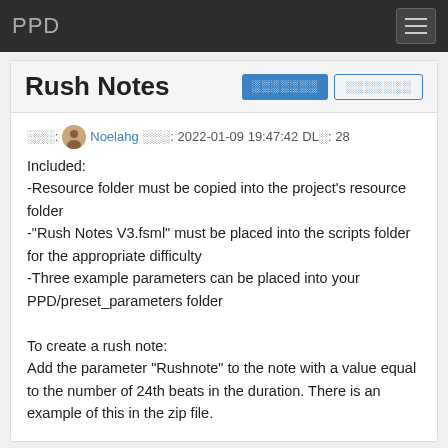PPD
Rush Notes
作者: Noelahg 日期: 2022-01-09 19:47:42 DL数: 28
Included:
-Resource folder must be copied into the project's resource folder
-"Rush Notes V3.fsml" must be placed into the scripts folder for the appropriate difficulty
-Three example parameters can be placed into your PPD/preset_parameters folder

To create a rush note:
Add the parameter "Rushnote" to the note with a value equal to the number of 24th beats in the duration. There is an example of this in the zip file.

If you want the rush to last for 2 measures/bars in the editor, then you add/edit the value of the parameter to be "24"